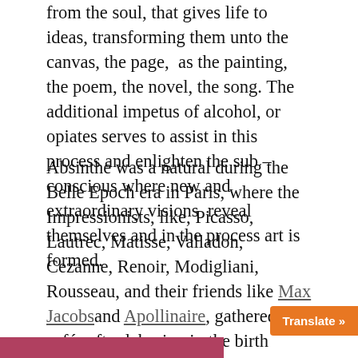from the soul, that gives life to ideas, transforming them unto the canvas, the page,  as the painting, the poem, the novel, the song. The additional impetus of alcohol, or opiates serves to assist in this process and enlighten the sub – conscious where new and extraordinary visions  reveal themselves and in the process art is formed.
Absinthe was a natural during the Belle Epoch era in Paris, where the Impressionists, like, Picasso, Lautrec, Matisse, Valladon, Cezanne, Renoir, Modigliani, Rousseau, and their friends like Max Jacobs and Apollinaire, gathered in cafés after laboring in the birth process of creation all day, to indulge their senses with absinthe and conversation. Five o'clock, the Green Fairy descended and the cafés filled up with her enthusiasts!Then the 60's brought with it, LSD, rock and roll, pop art, pot, and the art crowd were hooked!